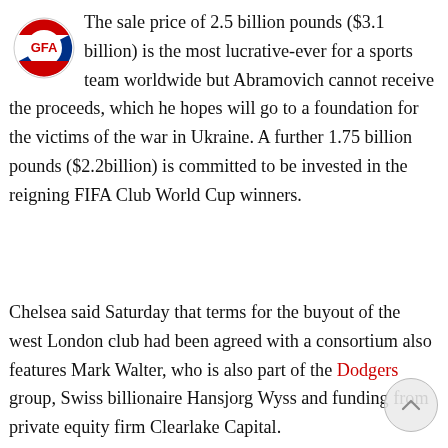[Figure (logo): GFA England football logo — circular icon with red and blue coloring plus text 'football' in red and 'england' in bold dark blue]
The sale price of 2.5 billion pounds ($3.1 billion) is the most lucrative-ever for a sports team worldwide but Abramovich cannot receive the proceeds, which he hopes will go to a foundation for the victims of the war in Ukraine. A further 1.75 billion pounds ($2.2billion) is committed to be invested in the reigning FIFA Club World Cup winners.
Chelsea said Saturday that terms for the buyout of the west London club had been agreed with a consortium also features Mark Walter, who is also part of the Dodgers group, Swiss billionaire Hansjorg Wyss and funding from private equity firm Clearlake Capital.
The Premier League must approve them as the new ownership and the government has to sign off the new under the terms of the license that